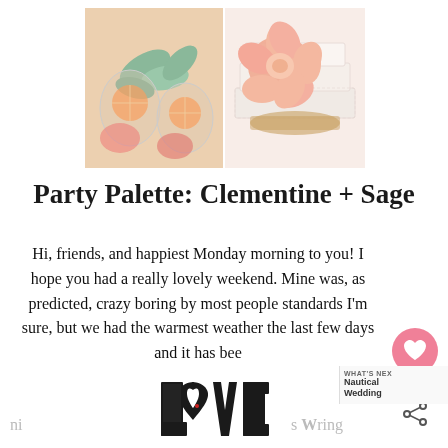[Figure (photo): Two-panel photo: left side shows cocktail glasses with citrus slices and eucalyptus leaves; right side shows a white wedding cake with a large peach/coral flower decoration.]
Party Palette: Clementine + Sage
Hi, friends, and happiest Monday morning to you! I hope you had a really lovely weekend. Mine was, as predicted, crazy boring by most people standards I'm sure, but we had the warmest weather the last few days and it has bee...